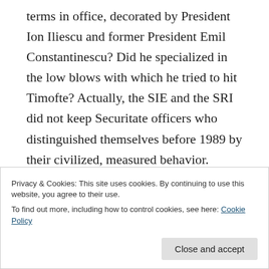terms in office, decorated by President Ion Iliescu and former President Emil Constantinescu? Did he specialized in the low blows with which he tried to hit Timofte? Actually, the SIE and the SRI did not keep Securitate officers who distinguished themselves before 1989 by their civilized, measured behavior. Instead, they kept the ones who were not shy about making every possible move to get ahead, polishing the shoes of the right figurehead politicians, hanging around talking and pretending they were good at something, or putting
Privacy & Cookies: This site uses cookies. By continuing to use this website, you agree to their use. To find out more, including how to control cookies, see here: Cookie Policy
and retired officers, this category of Securitate officers